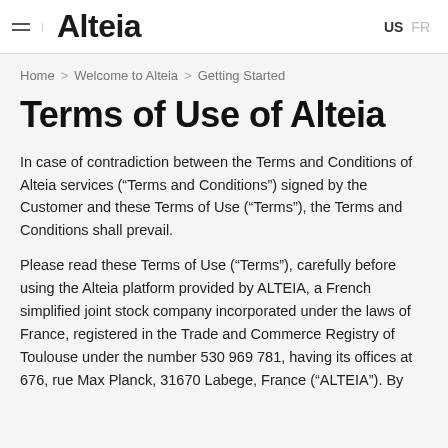Alteia | US FR
Home > Welcome to Alteia > Getting Started
Terms of Use of Alteia
In case of contradiction between the Terms and Conditions of Alteia services (“Terms and Conditions”) signed by the Customer and these Terms of Use (“Terms”), the Terms and Conditions shall prevail.
Please read these Terms of Use (“Terms”), carefully before using the Alteia platform provided by ALTEIA, a French simplified joint stock company incorporated under the laws of France, registered in the Trade and Commerce Registry of Toulouse under the number 530 969 781, having its offices at 676, rue Max Planck, 31670 Labege, France (“ALTEIA”). By